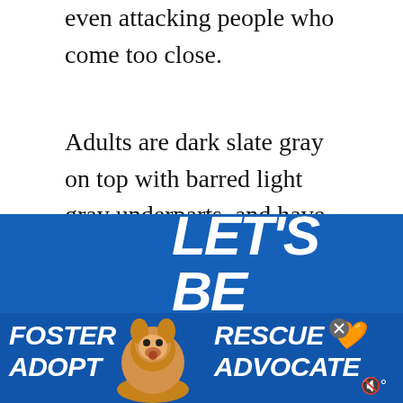even attacking people who come too close.
Adults are dark slate gray on top with barred light gray underparts, and have a light stripe over their eyes. Northern Goshawks live and nest in forests high up in the trees. They are mostly opportunistic eaters with a wide range of prey including other birds, mammals, carrion, and insects.
[Figure (other): UI overlay: circular teal heart/like button and circular share button on right side of page]
[Figure (other): What's Next panel showing a red bird (cardinal) thumbnail with text 'WHAT'S NEXT → 18 Birds That Start With M...']
[Figure (other): Blue advertisement banner reading 'LET'S BE' in large italic bold white text, with bottom bar showing 'FOSTER RESCUE ADOPT ADVOCATE' and a beagle dog image]